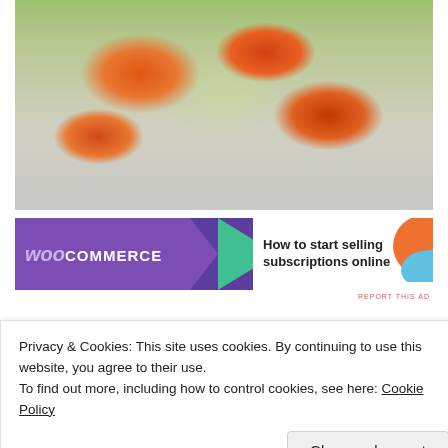[Figure (photo): Vietnamese spring rolls / fresh rolls with visible orange carrots and green vegetables wrapped in translucent rice paper, arranged on a white plate]
[Figure (screenshot): WooCommerce advertisement banner: purple background with WooCommerce logo on left, white section on right with text 'How to start selling subscriptions online', orange decorative element at right edge]
REPORT THIS AD
Privacy & Cookies: This site uses cookies. By continuing to use this website, you agree to their use.
To find out more, including how to control cookies, see here: Cookie Policy
Close and accept